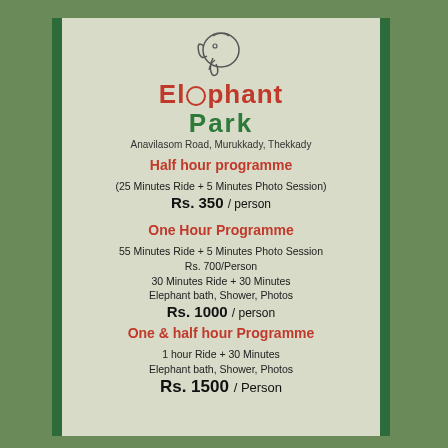[Figure (logo): Elephant Park logo with elephant head illustration and brand name in red and green]
Anavilasom Road, Murukkady, Thekkady
Half hour programme
(25 Minutes Ride + 5 Minutes Photo Session)
Rs. 350 / person
One Hour Programme
55 Minutes Ride + 5 Minutes Photo Session
Rs. 700/Person
30 Minutes Ride + 30 Minutes
Elephant bath, Shower, Photos
Rs. 1000 / person
One & half hour Programme
1 hour Ride + 30 Minutes
Elephant bath, Shower, Photos
Rs. 1500 / Person